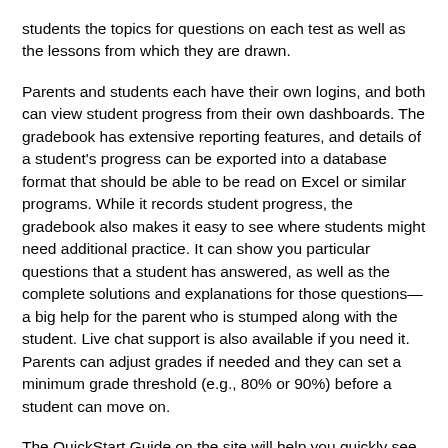students the topics for questions on each test as well as the lessons from which they are drawn.
Parents and students each have their own logins, and both can view student progress from their own dashboards. The gradebook has extensive reporting features, and details of a student's progress can be exported into a database format that should be able to be read on Excel or similar programs. While it records student progress, the gradebook also makes it easy to see where students might need additional practice. It can show you particular questions that a student has answered, as well as the complete solutions and explanations for those questions—a big help for the parent who is stumped along with the student. Live chat support is also available if you need it. Parents can adjust grades if needed and they can set a minimum grade threshold (e.g., 80% or 90%) before a student can move on.
The QuickStart Guide on the site will help you quickly see how the program functions. Similarly, the Gradebook Guide demonstrates the features of the gradebook so that you can